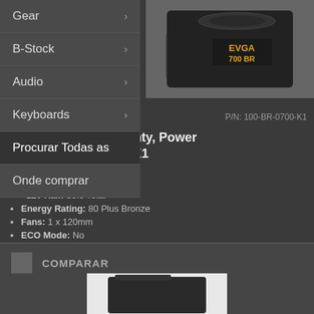Gear
B-Stock
Audio
Keyboards
Procurar Todas as
Onde comprar
[Figure (photo): EVGA 700 BR power supply unit, black, with fan visible on top]
P/N: 100-BR-0700-K1
EVGA BR 700W, 3 Year Warranty, Power Supply 100-BR-0700-K1
Total Watts: 700 Watts
+12v Rail: 58.3 Total
Energy Rating: 80 Plus Bronze
Fans: 1 x 120mm
ECO Mode: No
Garantia: 3 Anos
COMPARAR
[Figure (photo): Another EVGA power supply unit partially visible at the bottom]